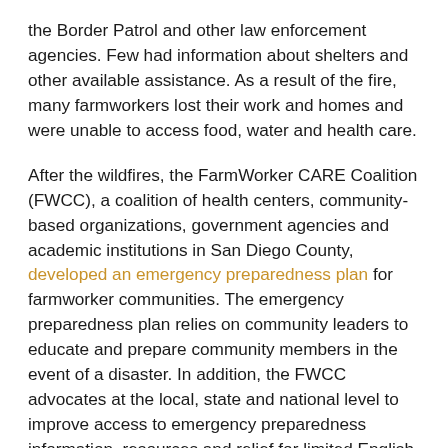the Border Patrol and other law enforcement agencies. Few had information about shelters and other available assistance. As a result of the fire, many farmworkers lost their work and homes and were unable to access food, water and health care.
After the wildfires, the FarmWorker CARE Coalition (FWCC), a coalition of health centers, community-based organizations, government agencies and academic institutions in San Diego County, developed an emergency preparedness plan for farmworker communities. The emergency preparedness plan relies on community leaders to educate and prepare community members in the event of a disaster. In addition, the FWCC advocates at the local, state and national level to improve access to emergency preparedness information, resources and relief for limited English proficient, hard-to-reach communities.
Farmworker communities need access to information about available resources in the event of a disaster. In preparing the community for a disaster, community-based organizations and leaders in the farmworker community should be involved